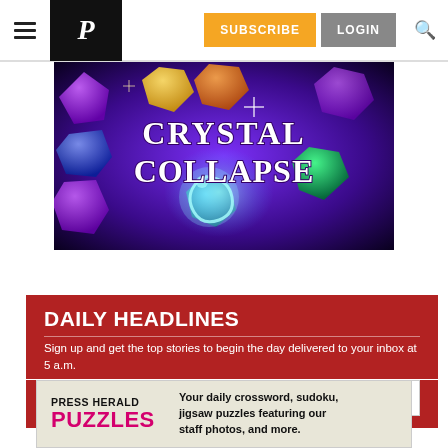Press Herald navigation bar with hamburger menu, logo, SUBSCRIBE, LOGIN, and search icon
[Figure (screenshot): Crystal Collapse game promotional image with colorful gem stones on a purple/blue background with the text CRYSTAL COLLAPSE in large stylized white font]
DAILY HEADLINES
Sign up and get the top stories to begin the day delivered to your inbox at 5 a.m.
[Figure (screenshot): Email address input field with placeholder text 'Email address' on white background]
[Figure (infographic): Press Herald Puzzles advertisement banner: 'Your daily crossword, sudoku, jigsaw puzzles featuring our staff photos, and more.']